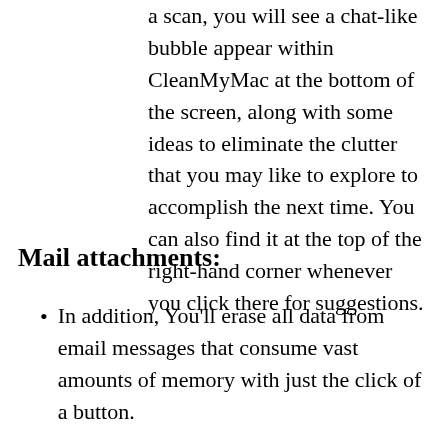a scan, you will see a chat-like bubble appear within CleanMyMac at the bottom of the screen, along with some ideas to eliminate the clutter that you may like to explore to accomplish the next time. You can also find it at the top of the right-hand corner whenever you click there for suggestions.
Mail attachments:
In addition, You'll erase all data from email messages that consume vast amounts of memory with just the click of a button.